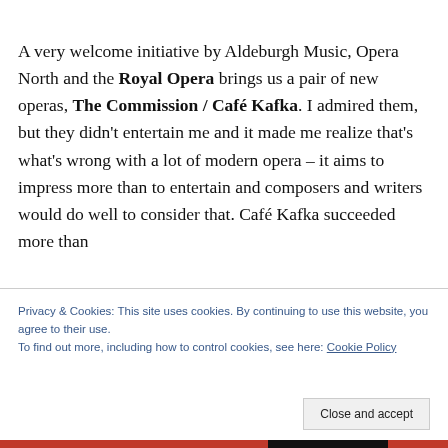A very welcome initiative by Aldeburgh Music, Opera North and the Royal Opera brings us a pair of new operas, The Commission / Café Kafka. I admired them, but they didn't entertain me and it made me realize that's what's wrong with a lot of modern opera – it aims to impress more than to entertain and composers and writers would do well to consider that. Café Kafka succeeded more than
Privacy & Cookies: This site uses cookies. By continuing to use this website, you agree to their use.
To find out more, including how to control cookies, see here: Cookie Policy
Close and accept